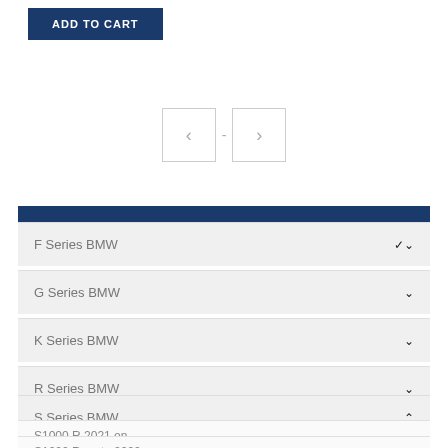[Figure (other): ADD TO CART button in dark navy blue]
[Figure (other): Navigation controls with left arrow box, dash, and right arrow box]
PRODUCT CATEGORIES
F Series BMW
G Series BMW
K Series BMW
R Series BMW
S Series BMW
S1000 R 2021 on
S1000 R up to 2020